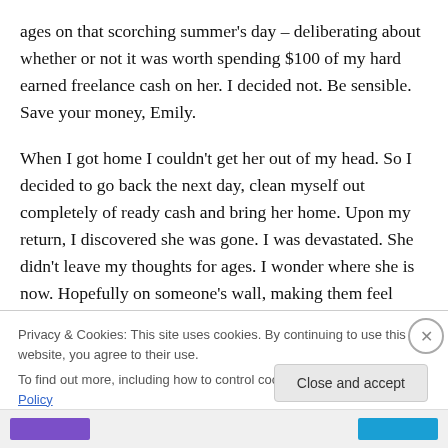ages on that scorching summer's day – deliberating about whether or not it was worth spending $100 of my hard earned freelance cash on her. I decided not. Be sensible. Save your money, Emily.
When I got home I couldn't get her out of my head. So I decided to go back the next day, clean myself out completely of ready cash and bring her home. Upon my return, I discovered she was gone. I was devastated. She didn't leave my thoughts for ages. I wonder where she is now. Hopefully on someone's wall, making them feel
Privacy & Cookies: This site uses cookies. By continuing to use this website, you agree to their use.
To find out more, including how to control cookies, see here: Cookie Policy
Close and accept